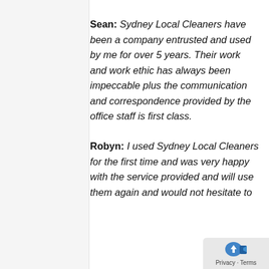Sean: Sydney Local Cleaners have been a company entrusted and used by me for over 5 years. Their work and work ethic has always been impeccable plus the communication and correspondence provided by the office staff is first class.
Robyn: I used Sydney Local Cleaners for the first time and was very happy with the service provided and will use them again and would not hesitate to